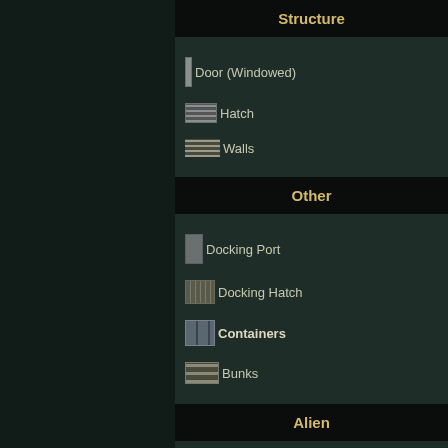Structure
Door (Windowed)
Hatch
Walls
Other
Docking Port
Docking Hatch
Containers
Bunks
Alien
Alien Button
Alien Pump